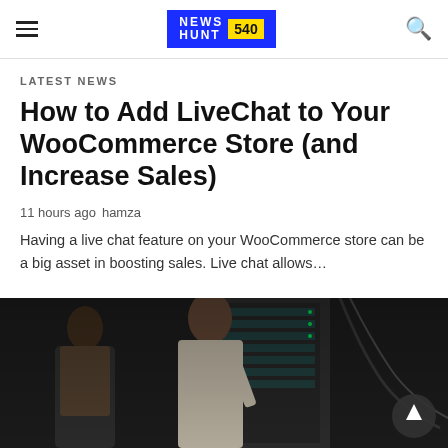NEWS HUNT 540 — navigation bar with hamburger menu, logo, and search icon
LATEST NEWS
How to Add LiveChat to Your WooCommerce Store (and Increase Sales)
11 hours ago  hamza
Having a live chat feature on your WooCommerce store can be a big asset in boosting sales. Live chat allows…
[Figure (photo): Two IT professionals (a woman and a man) working in a server room with rack-mounted servers visible in the background. Dark environment with a scroll-to-top arrow button overlay in the bottom right.]